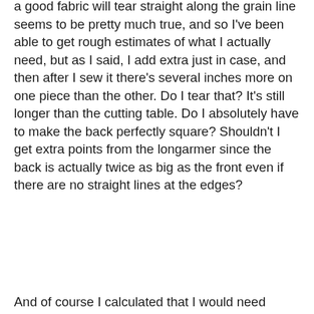a good fabric will tear straight along the grain line seems to be pretty much true, and so I've been able to get rough estimates of what I actually need, but as I said, I add extra just in case, and then after I sew it there's several inches more on one piece than the other. Do I tear that? It's still longer than the cutting table. Do I absolutely have to make the back perfectly square? Shouldn't I get extra points from the longarmer since the back is actually twice as big as the front even if there are no straight lines at the edges?
And of course I calculated that I would need approximately 867 yards of the Kona, and it turns out I actually need 873. I wonder if I could by stock in Robert Kaufman Fabrics? They could at least send me a coupon or something, for singlehandedly keeping them in business.
Harper feels that her quilt needs have been ignored long enough, and I have been charged with making both a Halloween quilt and a Christmas quilt. I had an old Halloween-themed jelly roll lying about, and I bought that Christmas layer cake in Nashville, so it will be impossible to claim fabric poverty. A friend wants me to make her a Kindle